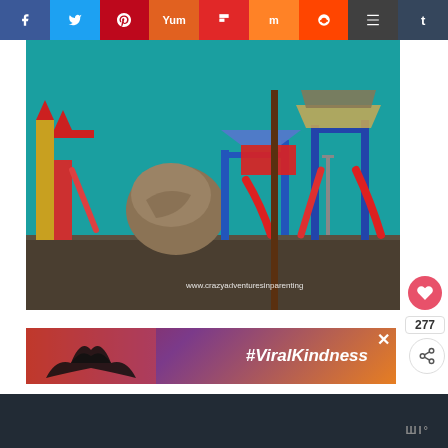[Figure (screenshot): Social media share bar with buttons for Facebook (purple), Twitter (blue), Pinterest (red), Yummly (orange), Flipboard (red), Mix (orange), Reddit (orange-red), Buffer (dark gray), Tumblr (dark blue)]
[Figure (photo): Colorful playground with slides, climbing structures, and shade canopies under a teal sky. Watermark reads www.crazyadventuresinparenting]
[Figure (screenshot): Advertisement banner with #ViralKindness text and heart hands silhouette image, with close X button]
[Figure (screenshot): Dark footer bar with a logo icon in bottom right]